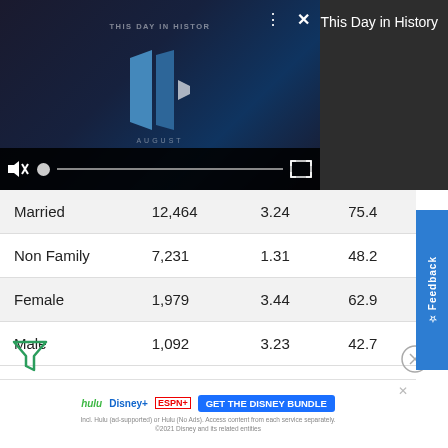[Figure (screenshot): Video player showing 'This Day in History' with play controls, mute button, progress bar, and fullscreen icon on dark background]
This Day in History
| Married | 12,464 | 3.24 | 75.4 |
| Non Family | 7,231 | 1.31 | 48.2 |
| Female | 1,979 | 3.44 | 62.9 |
| Male | 1,092 | 3.23 | 42.7 |
3.15
Average Family Size
[Figure (screenshot): Advertisement banner: hulu Disney+ ESPN+ GET THE DISNEY BUNDLE. Incl. Hulu (ad-supported) or Hulu (No Ads). Access content from each service separately. ©2021 Disney and its related entities]